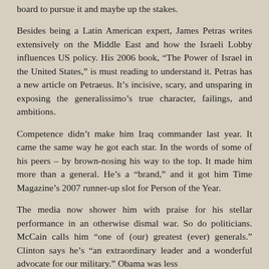board to pursue it and maybe up the stakes.
Besides being a Latin American expert, James Petras writes extensively on the Middle East and how the Israeli Lobby influences US policy. His 2006 book, “The Power of Israel in the United States,” is must reading to understand it. Petras has a new article on Petraeus. It’s incisive, scary, and unsparing in exposing the generalissimo’s true character, failings, and ambitions.
Competence didn’t make him Iraq commander last year. It came the same way he got each star. In the words of some of his peers – by brown-nosing his way to the top. It made him more than a general. He’s a “brand,” and it got him Time Magazine’s 2007 runner-up slot for Person of the Year.
The media now shower him with praise for his stellar performance in an otherwise dismal war. So do politicians. McCain calls him “one of (our) greatest (ever) generals.” Clinton says he’s “an extraordinary leader and a wonderful advocate for our military.” Obama was less